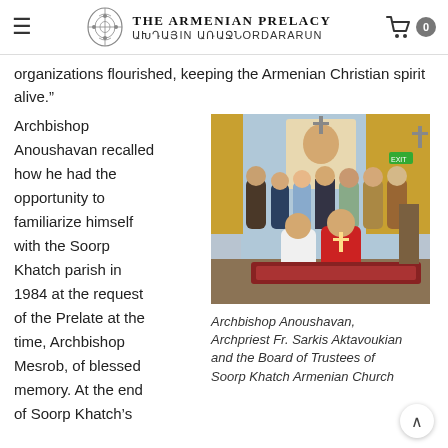The Armenian Prelacy ԱԽԴԱՅԻՆ ԱՌԱՋՆՈՐԴාԸՆ
organizations flourished, keeping the Armenian Christian spirit alive.”
Archbishop Anoushavan recalled how he had the opportunity to familiarize himself with the Soorp Khatch parish in 1984 at the request of the Prelate at the time, Archbishop Mesrob, of blessed memory. At the end of Soorp Khatch’s
[Figure (photo): Group photo inside an Armenian church sanctuary. Archbishop Anoushavan in white vestments and another bishop in ornate red vestments are seated in the center. Several lay people stand behind them in front of the altar and church interior.]
Archbishop Anoushavan, Archpriest Fr. Sarkis Aktavoukian and the Board of Trustees of Soorp Khatch Armenian Church